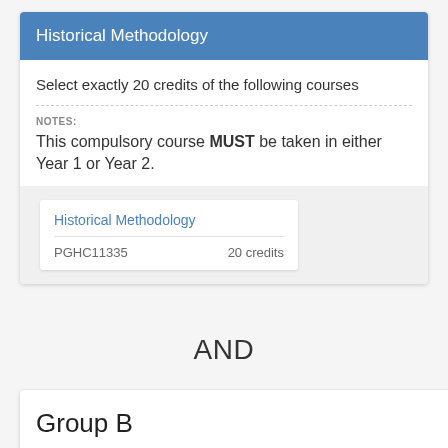Historical Methodology
Select exactly 20 credits of the following courses
NOTES:
This compulsory course MUST be taken in either Year 1 or Year 2.
| Course Name | Code | Credits |
| --- | --- | --- |
| Historical Methodology | PGHC11335 | 20 credits |
AND
Group B